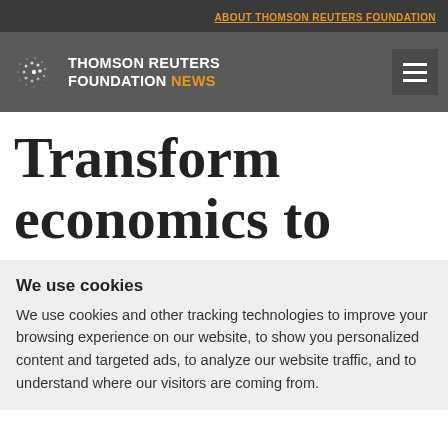ABOUT THOMSON REUTERS FOUNDATION
[Figure (logo): Thomson Reuters Foundation News logo with spiral dot icon]
Transform economics to
We use cookies
We use cookies and other tracking technologies to improve your browsing experience on our website, to show you personalized content and targeted ads, to analyze our website traffic, and to understand where our visitors are coming from.